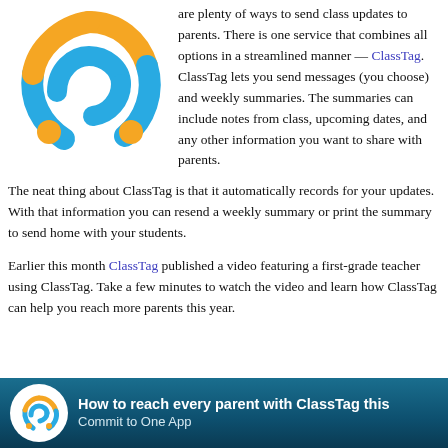[Figure (logo): ClassTag logo: blue and orange circular swirl shapes with two orange dots]
are plenty of ways to send class updates to parents. There is one service that combines all options in a streamlined manner — ClassTag. ClassTag lets you send messages (you choose) and weekly summaries. The summaries can include notes from class, upcoming dates, and any other information you want to share with parents.
The neat thing about ClassTag is that it automatically records for your updates. With that information you can resend a weekly summary or print the summary to send home with your students.
Earlier this month ClassTag published a video featuring a first-grade teacher using ClassTag. Take a few minutes to watch the video and learn how ClassTag can help you reach more parents this year.
[Figure (screenshot): Video thumbnail with ClassTag logo and text: How to reach every parent with ClassTag this year / Commit to One App]